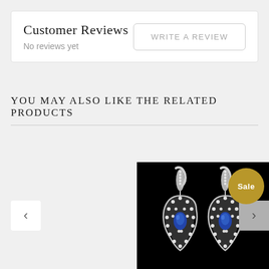Customer Reviews
No reviews yet
WRITE A REVIEW
YOU MAY ALSO LIKE THE RELATED PRODUCTS
[Figure (photo): Jewelry earrings with sapphire stones and diamonds on a black background, with a gold Sale badge in the upper right corner. Navigation arrows visible on left and right sides of carousel.]